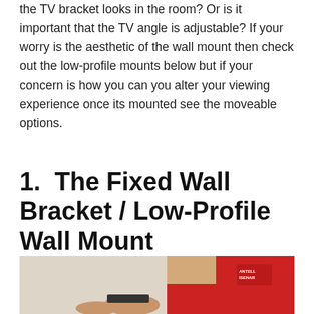the TV bracket looks in the room? Or is it important that the TV angle is adjustable? If your worry is the aesthetic of the wall mount then check out the low-profile mounts below but if your concern is how you can you alter your viewing experience once its mounted see the moveable options.
1.  The Fixed Wall Bracket / Low-Profile Wall Mount
[Figure (photo): A person in a red polo shirt apparently installing or demonstrating a TV wall bracket mount.]